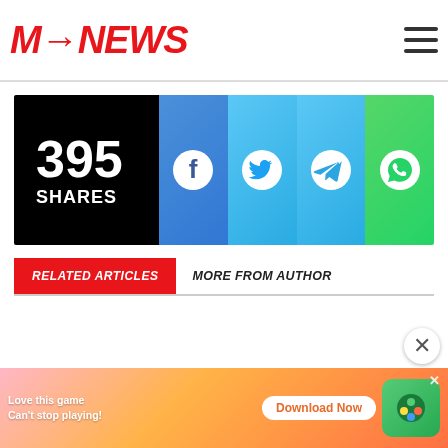[Figure (logo): MsNews logo in red italic bold font with arrow, hamburger menu icon top right]
[Figure (infographic): Social share bar: 395 SHARES on black background, followed by Facebook, Twitter, Telegram, WhatsApp icon buttons]
RELATED ARTICLES
MORE FROM AUTHOR
[Figure (infographic): Advertisement banner: Love this game Can't stop playing! Download Now - Bubble Shooter Animal World]
[Figure (other): Close button (X) circle]